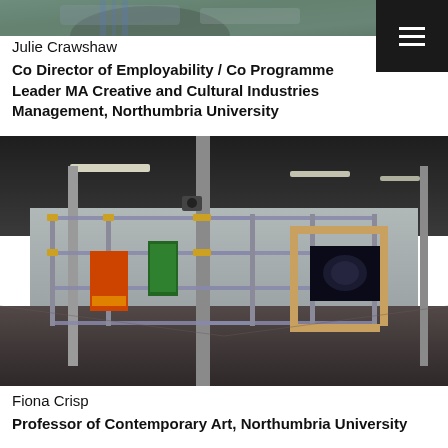[Figure (photo): Top portion of a photo showing a person in a striped shirt outdoors]
Julie Crawshaw
Co Director of Employability / Co Programme Leader MA Creative and Cultural Industries Management, Northumbria University
[Figure (photo): Interior of a contemporary art gallery space with scaffolding-like metal structures, columns, and artwork including video screens. The floor is dark and the ceiling has industrial lighting.]
Fiona Crisp
Professor of Contemporary Art, Northumbria University